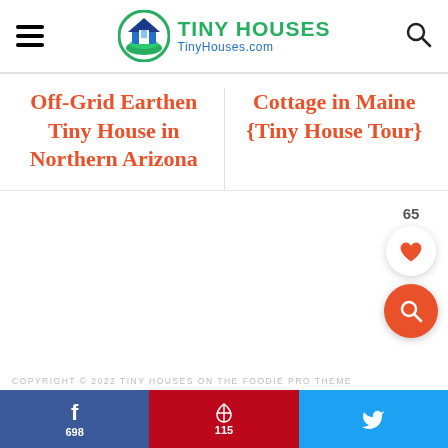TINY HOUSES TinyHouses.com
Off-Grid Earthen Tiny House in Northern Arizona
Cottage in Maine {Tiny House Tour}
COPYRIGHT © 2022 TINY HOUSES ON THE FOODIE PRO THEME
[Figure (other): Social share buttons: Facebook 698, Pinterest 115, Twitter]
[Figure (other): Like widget showing 65 likes and a search button]